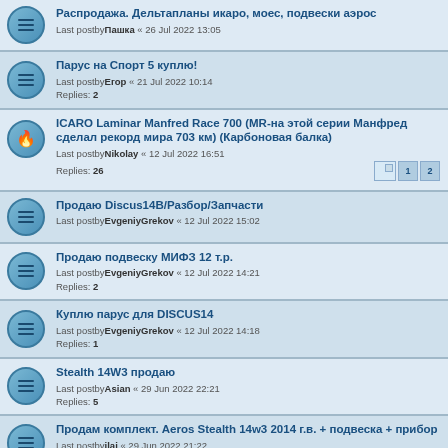Распродажа. Дельтапланы икаро, моес, подвески аэрос
Last postby Пашка « 26 Jul 2022 13:05
Парус на Спорт 5 куплю!
Last postby Егор « 21 Jul 2022 10:14
Replies: 2
ICARO Laminar Manfred Race 700 (MR-на этой серии Манфред сделал рекорд мира 703 км) (Карбоновая балка)
Last postby Nikolay « 12 Jul 2022 16:51
Replies: 26
Продаю Discus14B/Разбор/Запчасти
Last postby EvgeniyGrekov « 12 Jul 2022 15:02
Продаю подвеску МИФЗ 12 т.р.
Last postby EvgeniyGrekov « 12 Jul 2022 14:21
Replies: 2
Куплю парус для DISCUS14
Last postby EvgeniyGrekov « 12 Jul 2022 14:18
Replies: 1
Stealth 14W3 продаю
Last postby Asian « 29 Jun 2022 22:21
Replies: 5
Продам комплект. Aeros Stealth 14w3 2014 г.в. + подвеска + прибор
Last postby ilai « 29 Jun 2022 21:22
Дельтапланерная подвесная система Наконечного "Firefly"